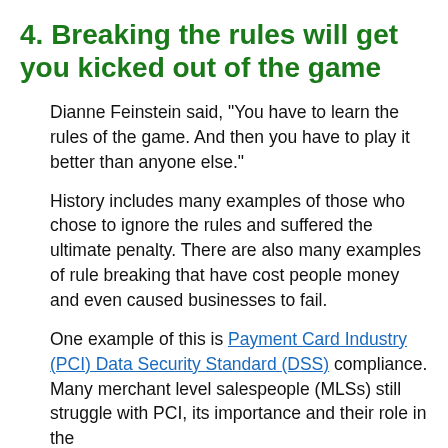4. Breaking the rules will get you kicked out of the game
Dianne Feinstein said, "You have to learn the rules of the game. And then you have to play it better than anyone else."
History includes many examples of those who chose to ignore the rules and suffered the ultimate penalty. There are also many examples of rule breaking that have cost people money and even caused businesses to fail.
One example of this is Payment Card Industry (PCI) Data Security Standard (DSS) compliance. Many merchant level salespeople (MLSs) still struggle with PCI, its importance and their role in the